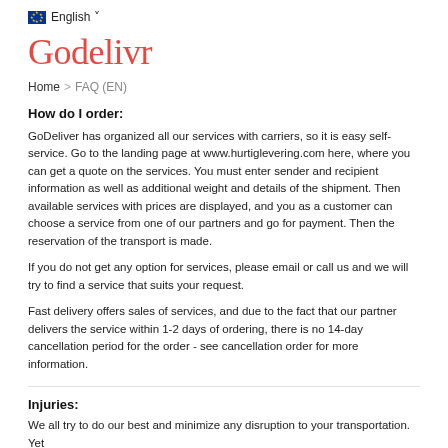English
[Figure (logo): GoDelivr logo in red/coral color, stylized font]
Home > FAQ (EN)
How do I order:
GoDeliver has organized all our services with carriers, so it is easy self-service. Go to the landing page at www.hurtiglevering.com here, where you can get a quote on the services. You must enter sender and recipient information as well as additional weight and details of the shipment. Then available services with prices are displayed, and you as a customer can choose a service from one of our partners and go for payment. Then the reservation of the transport is made.
If you do not get any option for services, please email or call us and we will try to find a service that suits your request.
Fast delivery offers sales of services, and due to the fact that our partner delivers the service within 1-2 days of ordering, there is no 14-day cancellation period for the order - see cancellation order for more information.
Injuries:
We all try to do our best and minimize any disruption to your transportation. Yet